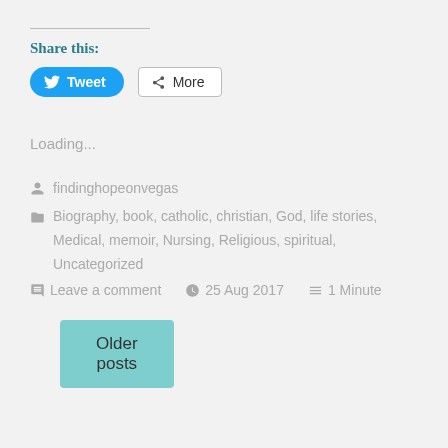Share this:
[Figure (other): Tweet and More share buttons]
Loading...
findinghopeonvegas
Biography, book, catholic, christian, God, life stories, Medical, memoir, Nursing, Religious, spiritual, Uncategorized
Leave a comment   25 Aug 2017   1 Minute
Older posts